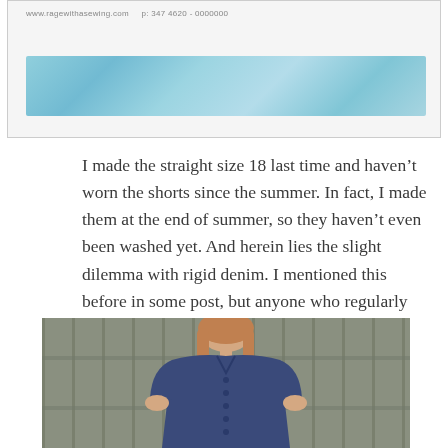[Figure (photo): Top portion of a blog post image showing a watercolor blue brushstroke/banner with a URL visible at the top left]
I made the straight size 18 last time and haven’t worn the shorts since the summer. In fact, I made them at the end of summer, so they haven’t even been washed yet. And herein lies the slight dilemma with rigid denim. I mentioned this before in some post, but anyone who regularly bought jeans pre-2000, say, knows rigid denim has to be broken in.
[Figure (photo): Woman with long reddish-blonde hair wearing a short-sleeved navy/dark blue button-up shirt, standing against a wooden fence background]